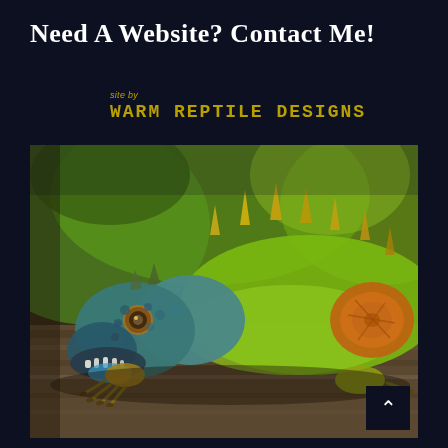Need a Website? Contact me!
site by WARM REPTILE DESIGNS
[Figure (photo): A close-up photo of a colorful green iguana with blue, teal, and orange scales lying on a wooden surface, with a blurred green background. An artistic, high-contrast edited photograph.]